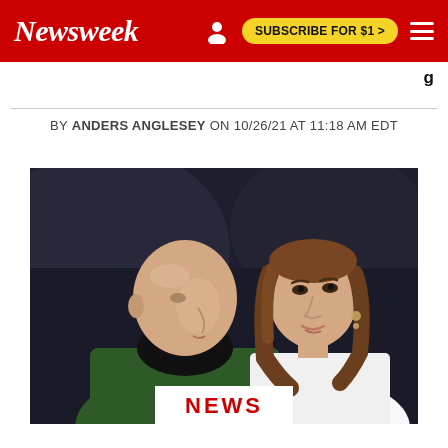Newsweek
BY ANDERS ANGLESEY ON 10/26/21 AT 11:18 AM EDT
[Figure (photo): Photo of Prince William (left, wearing green jacket and black turtleneck, bald, in profile) and Kate Middleton (right, wearing white, with long brown hair and earrings, facing camera), standing together against a dark background.]
NEWS